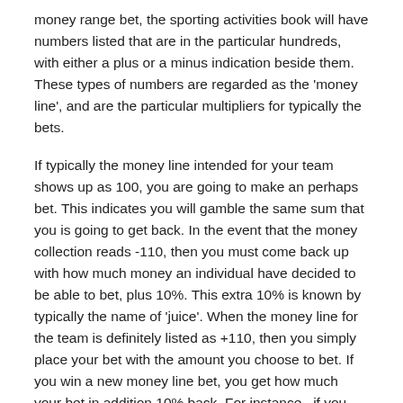money range bet, the sporting activities book will have numbers listed that are in the particular hundreds, with either a plus or a minus indication beside them. These types of numbers are regarded as the 'money line', and are the particular multipliers for typically the bets.
If typically the money line intended for your team shows up as 100, you are going to make an perhaps bet. This indicates you will gamble the same sum that you is going to get back. In the event that the money collection reads -110, then you must come back up with how much money an individual have decided to be able to bet, plus 10%. This extra 10% is known by typically the name of 'juice'. When the money line for the team is definitely listed as +110, then you simply place your bet with the amount you choose to bet. If you win a new money line bet, you get how much your bet in addition 10% back. For instance , if you gamble $10. 00 plus $1. 00 throughout juice on some sort of -110 money series